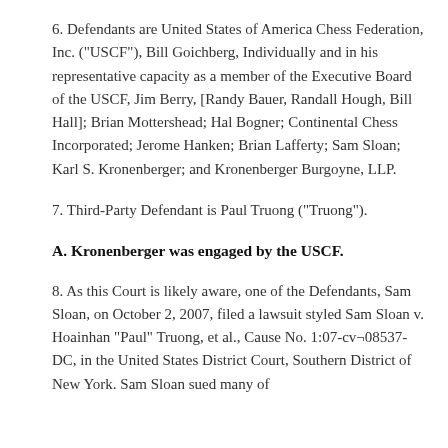6. Defendants are United States of America Chess Federation, Inc. ("USCF"), Bill Goichberg, Individually and in his representative capacity as a member of the Executive Board of the USCF, Jim Berry, [Randy Bauer, Randall Hough, Bill Hall]; Brian Mottershead; Hal Bogner; Continental Chess Incorporated; Jerome Hanken; Brian Lafferty; Sam Sloan; Karl S. Kronenberger; and Kronenberger Burgoyne, LLP.
7. Third-Party Defendant is Paul Truong ("Truong").
A. Kronenberger was engaged by the USCF.
8. As this Court is likely aware, one of the Defendants, Sam Sloan, on October 2, 2007, filed a lawsuit styled Sam Sloan v. Hoainhan "Paul" Truong, et al., Cause No. 1:07-cv¬08537-DC, in the United States District Court, Southern District of New York. Sam Sloan sued many of